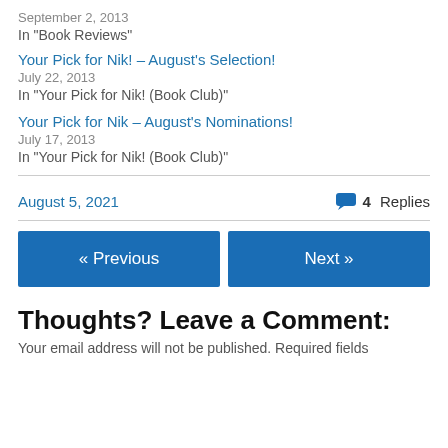September 2, 2013
In "Book Reviews"
Your Pick for Nik! – August's Selection!
July 22, 2013
In "Your Pick for Nik! (Book Club)"
Your Pick for Nik – August's Nominations!
July 17, 2013
In "Your Pick for Nik! (Book Club)"
August 5, 2021   4 Replies
« Previous
Next »
Thoughts? Leave a Comment:
Your email address will not be published. Required fields